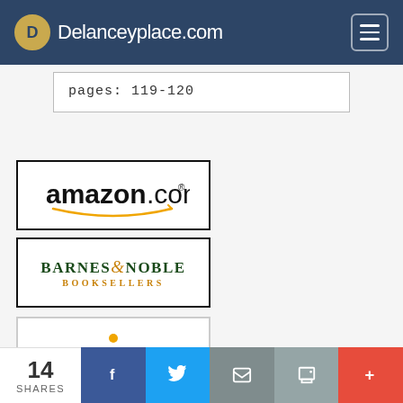Delanceyplace.com
pages:  119-120
[Figure (logo): Amazon.com logo with orange arrow smile]
[Figure (logo): Barnes & Noble Booksellers logo in dark green and orange]
[Figure (logo): Partial third retailer logo with orange dot visible]
14 SHARES | Facebook | Twitter | Email | Print | More